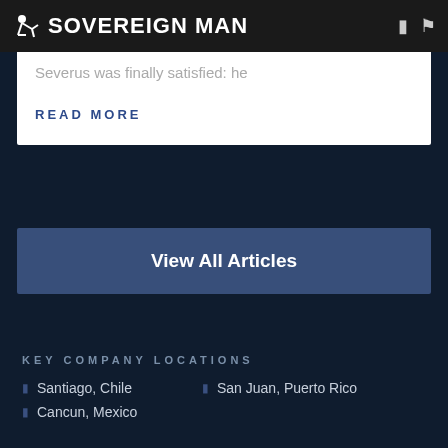SOVEREIGN MAN
Severus was finally satisfied: he
READ MORE
View All Articles
KEY COMPANY LOCATIONS
Santiago, Chile
San Juan, Puerto Rico
Cancun, Mexico